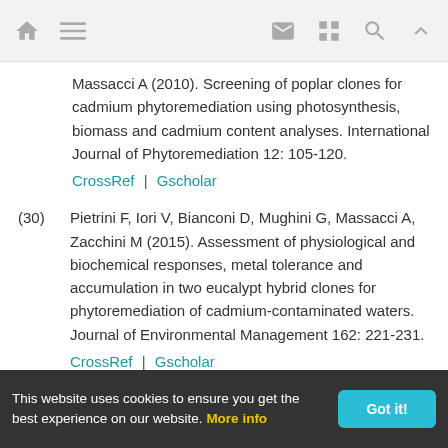Navigation bar with home, menu, mail, grid, search, up icons
...Massacci A (2010). Screening of poplar clones for cadmium phytoremediation using photosynthesis, biomass and cadmium content analyses. International Journal of Phytoremediation 12: 105-120. CrossRef | Gscholar
(30) Pietrini F, Iori V, Bianconi D, Mughini G, Massacci A, Zacchini M (2015). Assessment of physiological and biochemical responses, metal tolerance and accumulation in two eucalypt hybrid clones for phytoremediation of cadmium-contaminated waters. Journal of Environmental Management 162: 221-231. CrossRef | Gscholar
(31) Sharma RK, Agrawal M, Marshall FM (2008). Heavy
This website uses cookies to ensure you get the best experience on our website. More info